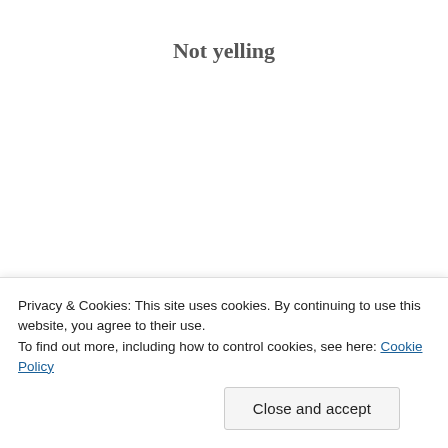Not yelling
Photo credit: Thomas Johnston
Privacy & Cookies: This site uses cookies. By continuing to use this website, you agree to their use.
To find out more, including how to control cookies, see here: Cookie Policy
Close and accept